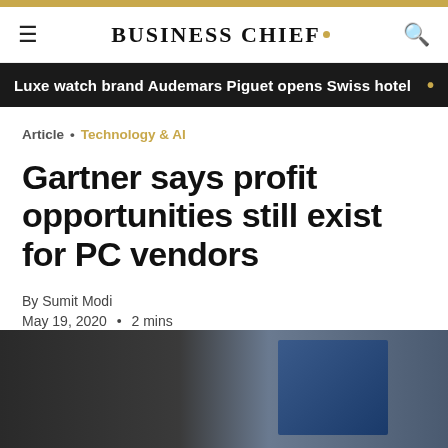BUSINESS CHIEF
Luxe watch brand Audemars Piguet opens Swiss hotel
Article • Technology & AI
Gartner says profit opportunities still exist for PC vendors
By Sumit Modi
May 19, 2020 • 2 mins
[Figure (photo): Dark background photo showing laptop or PC hardware, bottom portion of article page]